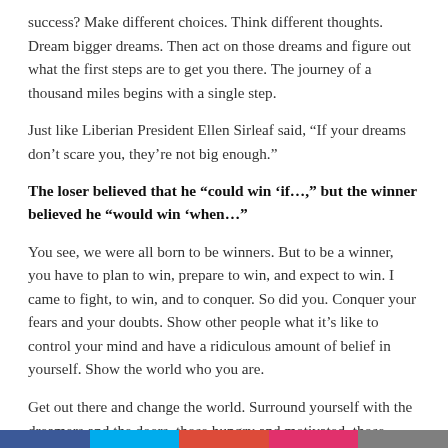success? Make different choices. Think different thoughts. Dream bigger dreams. Then act on those dreams and figure out what the first steps are to get you there. The journey of a thousand miles begins with a single step.
Just like Liberian President Ellen Sirleaf said, “If your dreams don't scare you, they're not big enough.”
The loser believed that he “could win ‘if…,” but the winner believed he “would win ‘when…”
You see, we were all born to be winners. But to be a winner, you have to plan to win, prepare to win, and expect to win. I came to fight, to win, and to conquer. So did you. Conquer your fears and your doubts. Show other people what it's like to control your mind and have a ridiculous amount of belief in yourself. Show the world who you are.
Get out there and change the world. Surround yourself with the dreamers and the doers, those hungry and motivated, those driven and focused. You'll become like them and feed off that